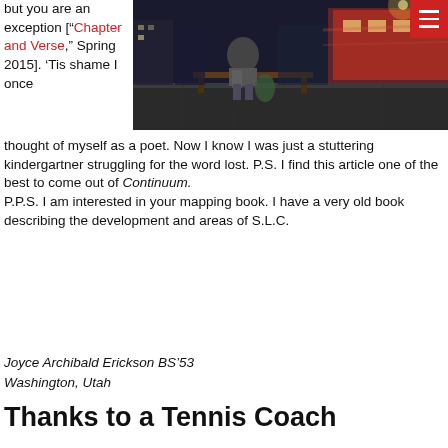but you are an exception [“Chapter and Verse,” Spring 2015]. ‘Tis shame I once thought of myself as a poet. Now I know I was just a stuttering kindergartner struggling for the word lost. P.S. I find this article one of the best to come out of Continuum. P.P.S. I am interested in your mapping book. I have a very old book describing the development and areas of S.L.C.
[Figure (photo): Person sitting on a bench at night on a city street, with blurred bus and city lights in background]
Joyce Archibald Erickson BS’53
Washington, Utah
Thanks to a Tennis Coach